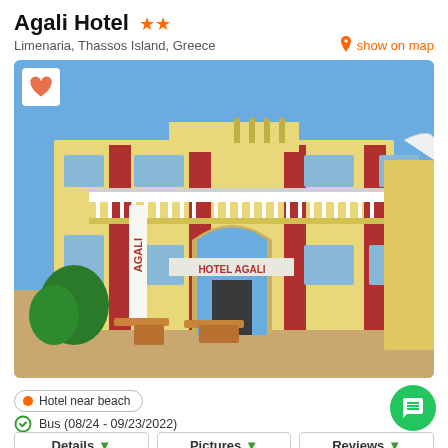Agali Hotel ★★
Limenaria, Thassos Island, Greece
show on map
[Figure (photo): Exterior photo of Agali Hotel, a two-story yellow building with red columns and white balcony railings, featuring signs reading 'GALI' and 'HOTEL AGALI', with outdoor seating area in front. A heart/favorite button is visible in the top-left corner of the photo.]
Hotel near beach
Bus (08/24 - 09/23/2022)
Details
Pictures
Reviews